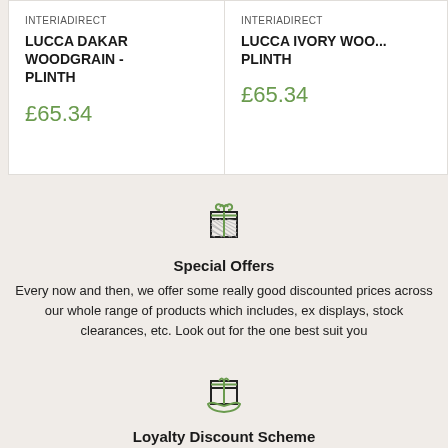INTERIADIRECT
LUCCA DAKAR WOODGRAIN - PLINTH
£65.34
INTERIADIRECT
LUCCA IVORY WOO... PLINTH
£65.34
[Figure (illustration): Gift box icon with ribbon and bow, outline style, green and black]
Special Offers
Every now and then, we offer some really good discounted prices across our whole range of products which includes, ex displays, stock clearances, etc. Look out for the one best suit you
[Figure (illustration): Gift box with money/hands icon, outline style, green color]
Loyalty Discount Scheme